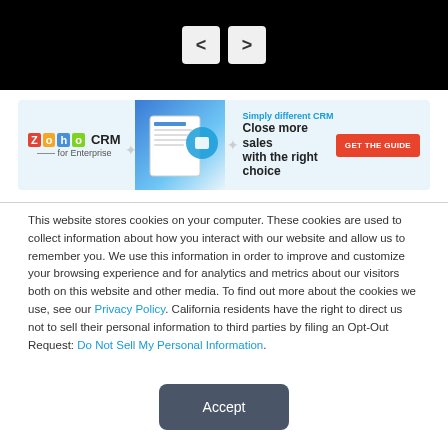[Figure (screenshot): Navigation arrows (back and forward) on black background]
[Figure (screenshot): Zoho CRM for Enterprise advertisement banner with text 'Simply different CRM — Close more sales with the right choice' and a GET THE GUIDE button]
This website stores cookies on your computer. These cookies are used to collect information about how you interact with our website and allow us to remember you. We use this information in order to improve and customize your browsing experience and for analytics and metrics about our visitors both on this website and other media. To find out more about the cookies we use, see our Privacy Policy. California residents have the right to direct us not to sell their personal information to third parties by filing an Opt-Out Request: Do Not Sell My Personal Info.
[Figure (screenshot): Accept button in dark slate color]